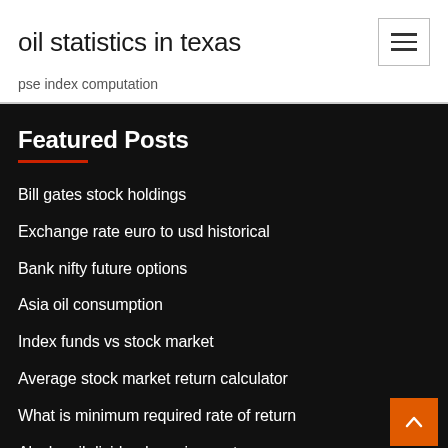oil statistics in texas
pse index computation
Featured Posts
Bill gates stock holdings
Exchange rate euro to usd historical
Bank nifty future options
Asia oil consumption
Index funds vs stock market
Average stock market return calculator
What is minimum required rate of return
Alaska oil dividend requirements